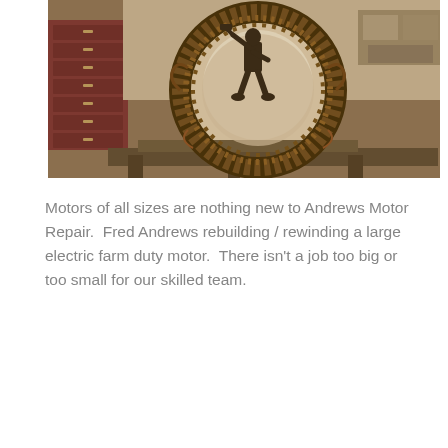[Figure (photo): Vintage black-and-white photograph of a worker (Fred Andrews) inside a large circular electric motor stator, rebuilding/rewinding it. The motor is on a work table in an industrial shop setting with red tool cabinets visible in the background.]
Motors of all sizes are nothing new to Andrews Motor Repair.  Fred Andrews rebuilding / rewinding a large electric farm duty motor.  There isn't a job too big or too small for our skilled team.